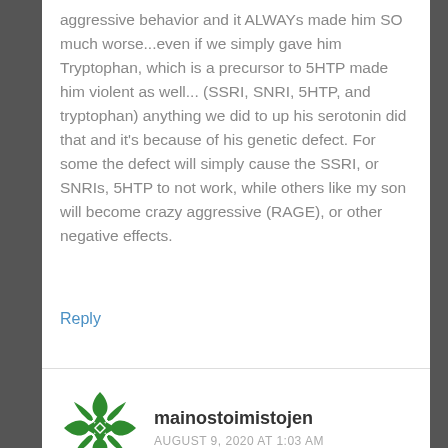aggressive behavior and it ALWAYs made him SO much worse...even if we simply gave him Tryptophan, which is a precursor to 5HTP made him violent as well... (SSRI, SNRI, 5HTP, and tryptophan) anything we did to up his serotonin did that and it's because of his genetic defect. For some the defect will simply cause the SSRI, or SNRIs, 5HTP to not work, while others like my son will become crazy aggressive (RAGE), or other negative effects.
Reply
[Figure (logo): Green geometric flower/star logo for mainostoimistojen]
mainostoimistojen
AUGUST 9, 2020 AT 1:03 AM